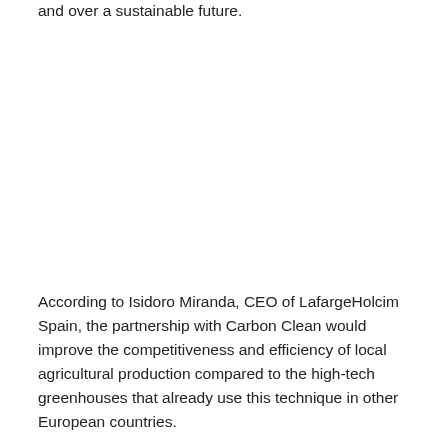and over a sustainable future.
According to Isidoro Miranda, CEO of LafargeHolcim Spain, the partnership with Carbon Clean would improve the competitiveness and efficiency of local agricultural production compared to the high-tech greenhouses that already use this technique in other European countries.